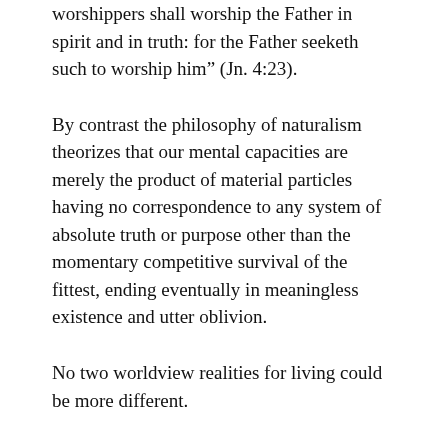worshippers shall worship the Father in spirit and in truth: for the Father seeketh such to worship him” (Jn. 4:23).
By contrast the philosophy of naturalism theorizes that our mental capacities are merely the product of material particles having no correspondence to any system of absolute truth or purpose other than the momentary competitive survival of the fittest, ending eventually in meaningless existence and utter oblivion.
No two worldview realities for living could be more different.
Wh...